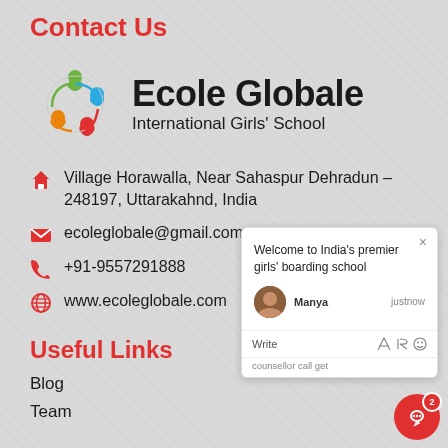Contact Us
[Figure (logo): Ecole Globale International Girls' School logo with colorful circular icon of figures and bold text]
Village Horawalla, Near Sahaspur Dehradun – 248197, Uttarakahnd, India
ecoleglobale@gmail.com
+91-9557291888
www.ecoleglobale.com
Useful Links
Blog
Team